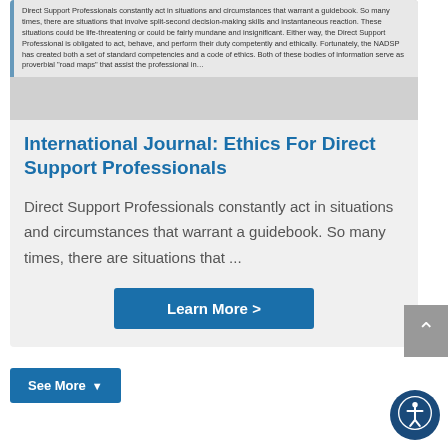[Figure (screenshot): Cropped image of a document page showing text about Direct Support Professionals acting in situations that warrant a guidebook, with text about split-second decision-making skills, ethics, NADSP competencies and code of ethics.]
International Journal: Ethics For Direct Support Professionals
Direct Support Professionals constantly act in situations and circumstances that warrant a guidebook. So many times, there are situations that ...
Learn More >
See More ▾